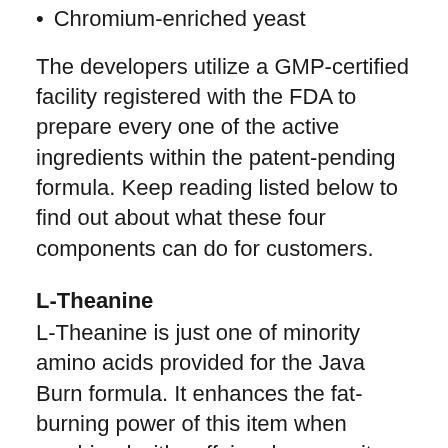Chromium-enriched yeast
The developers utilize a GMP-certified facility registered with the FDA to prepare every one of the active ingredients within the patent-pending formula. Keep reading listed below to find out about what these four components can do for customers.
L-Theanine
L-Theanine is just one of minority amino acids provided for the Java Burn formula. It enhances the fat-burning power of this item when combined with caffeine, however it likewise reduces the additional fat collected in the stomach, arms, as well as thighs. It lowers contaminants, and also it also sets off enhancement in the mind.